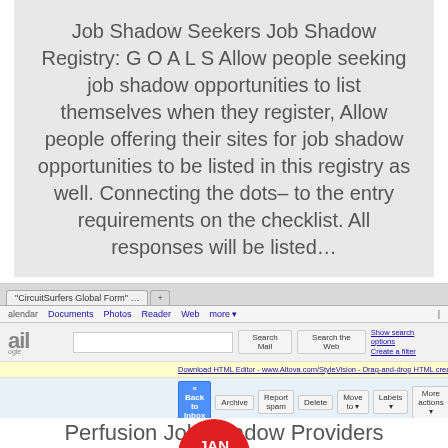Job Shadow Seekers Job Shadow Registry: G O A L S Allow people seeking job shadow opportunities to list themselves when they register, Allow people offering their sites for job shadow opportunities to be listed in this registry as well. Connecting the dots– to the entry requirements on the checklist. All responses will be listed...
[Figure (screenshot): Screenshot of a Gmail inbox showing an email notification that 'CircuitSurfers Global Form was edited recently', with browser tab bar, navigation bar, Gmail search bar, toolbar buttons (Back to Inbox, Archive, Report spam, Delete, Move to, Labels, More actions), and right-side action panel (New window, Print all, Collapse all, Forward all). A red circle badge shows 'JAN 24'. An accessibility icon appears bottom-left and a back-to-top button appears bottom-right.]
Perfusion Job Shadow Providers